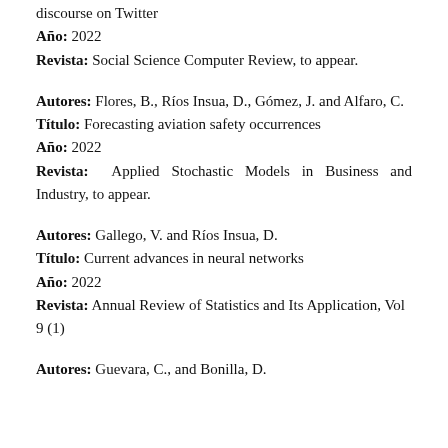discourse on Twitter
Año: 2022
Revista: Social Science Computer Review, to appear.
Autores: Flores, B., Ríos Insua, D., Gómez, J. and Alfaro, C.
Título: Forecasting aviation safety occurrences
Año: 2022
Revista: Applied Stochastic Models in Business and Industry, to appear.
Autores: Gallego, V. and Ríos Insua, D.
Título: Current advances in neural networks
Año: 2022
Revista: Annual Review of Statistics and Its Application, Vol 9 (1)
Autores: Guevara, C., and Bonilla, D.